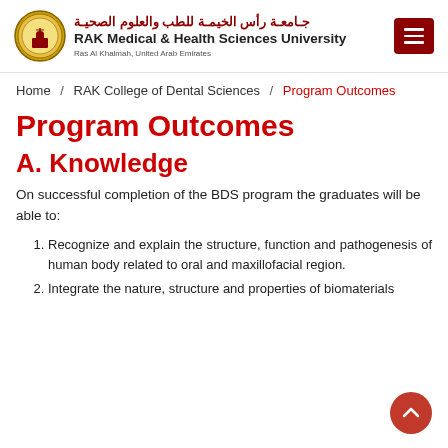[Figure (logo): RAK Medical & Health Sciences University logo with Arabic text and circular emblem]
Home / RAK College of Dental Sciences / Program Outcomes
Program Outcomes
A. Knowledge
On successful completion of the BDS program the graduates will be able to:
Recognize and explain the structure, function and pathogenesis of human body related to oral and maxillofacial region.
Integrate the nature, structure and properties of biomaterials